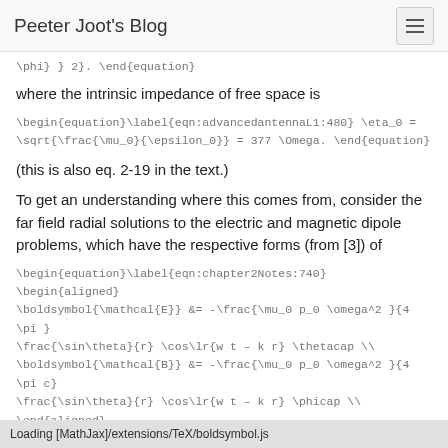Peeter Joot's Blog
\phi} } 2}. \end{equation}
where the intrinsic impedance of free space is
\begin{equation}\label{eqn:advancedantennaL1:480} \eta_0 = \sqrt{\frac{\mu_0}{\epsilon_0}} = 377 \Omega. \end{equation}
(this is also eq. 2-19 in the text.)
To get an understanding where this comes from, consider the far field radial solutions to the electric and magnetic dipole problems, which have the respective forms (from [3]) of
\begin{equation}\label{eqn:chapter2Notes:740} \begin{aligned} \boldsymbol{\mathcal{E}} &= -\frac{\mu_0 p_0 \omega^2 }{4 \pi } \frac{\sin\theta}{r} \cos\lr{w t - k r} \thetacap \\ \boldsymbol{\mathcal{B}} &= -\frac{\mu_0 p_0 \omega^2 }{4 \pi c} \frac{\sin\theta}{r} \cos\lr{w t - k r} \phicap \\ \end{aligned}
\end{equation}
Loading [MathJax]/extensions/TeX/boldsymbol.js